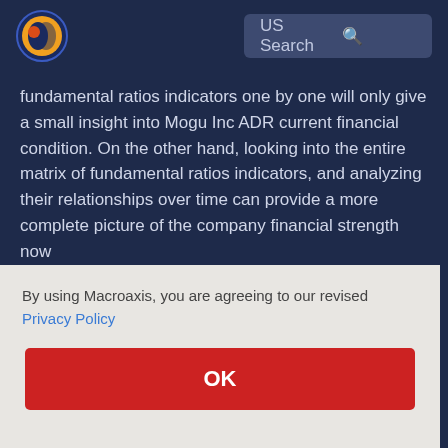US Search
fundamental ratios indicators one by one will only give a small insight into Mogu Inc ADR current financial condition. On the other hand, looking into the entire matrix of fundamental ratios indicators, and analyzing their relationships over time can provide a more complete picture of the company financial strength now
By using Macroaxis, you are agreeing to our revised Privacy Policy
OK
likely to drop slightly above 0.1 M in 2022